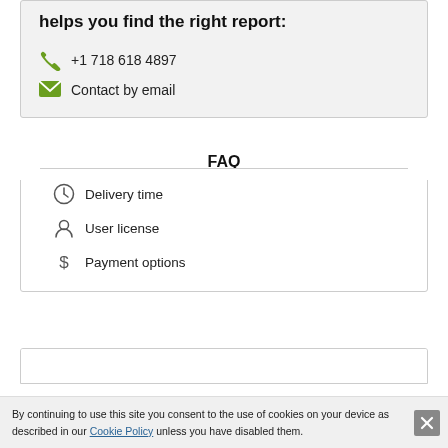helps you find the right report:
+1 718 618 4897
Contact by email
FAQ
Delivery time
User license
Payment options
Testimonials
By continuing to use this site you consent to the use of cookies on your device as described in our Cookie Policy unless you have disabled them.